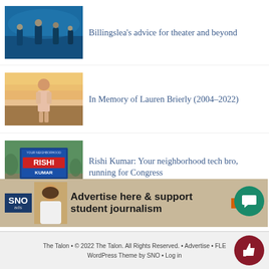[Figure (photo): Theater stage scene with performers in blue lighting]
Billingslea’s advice for theater and beyond
[Figure (photo): Young woman standing outdoors at sunset, wearing pink outfit]
In Memory of Lauren Brierly (2004–2022)
[Figure (photo): Campaign yard sign for Rishi Kumar for Congress]
Rishi Kumar: Your neighborhood tech bro, running for Congress
[Figure (infographic): SNO Ads banner: Advertise here & support student journalism]
The Talon • © 2022 The Talon. All Rights Reserved. • Advertise • FLE…
WordPress Theme by SNO • Log in